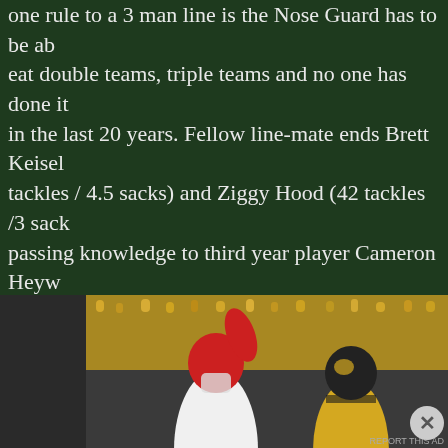one rule to a 3 man line is the Nose Guard has to be able to eat double teams, triple teams and no one has done it better in the last 20 years. Fellow line-mate ends Brett Keisel (48 tackles / 4.5 sacks) and Ziggy Hood (42 tackles /3 sacks) are passing knowledge to third year player Cameron Heyward, Keisel's heir apparent. They have signed several linemen to come to camp but these four guys are the main reason the line and defense is Super Bowl quality.
[Figure (photo): Football players on the field — a player in a white jersey with red helmet raises his arm, while a player in a yellow and black uniform stands nearby. Crowd in background wearing yellow.]
Advertisements